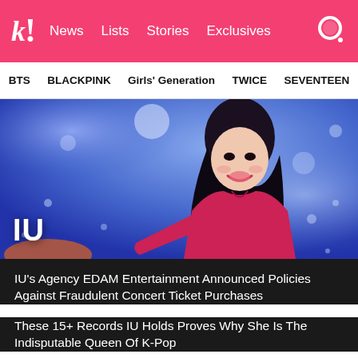k! News Lists Stories Exclusives
BTS BLACKPINK Girls' Generation TWICE SEVENTEEN
[Figure (photo): A smiling young woman with long dark hair wearing a red/pink top, performing or posing on a stage with blue background lighting. Text overlay reads 'IU' in large white bold letters.]
IU's Agency EDAM Entertainment Announced Policies Against Fraudulent Concert Ticket Purchases
These 15+ Records IU Holds Proves Why She Is The Indisputable Queen Of K-Pop
Is BTS's J-Hope Really A Coward? He Sets The Record Straight With IU
BTS's J-Hope And IU Have One Thing In Common That